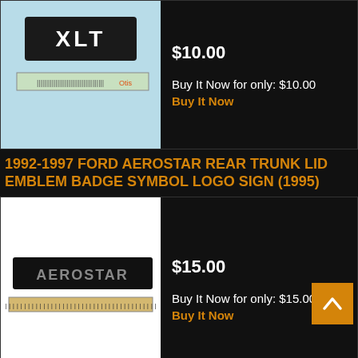[Figure (photo): XLT emblem badge with ruler for scale on light blue background]
$10.00
Buy It Now for only: $10.00
Buy It Now
1992-1997 FORD AEROSTAR REAR TRUNK LID EMBLEM BADGE SYMBOL LOGO SIGN (1995)
[Figure (photo): AEROSTAR emblem badge with ruler for scale on white background]
$15.00
Buy It Now for only: $15.00
Buy It Now
1992-1997 FORD AEROSTAR REAR TRUNK